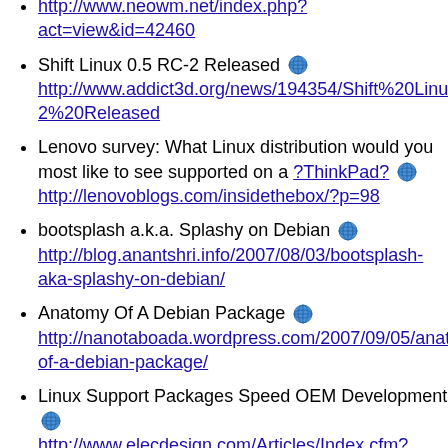http://www.neowm.net/index.php?act=view&id=42460
Shift Linux 0.5 RC-2 Released http://www.addict3d.org/news/194354/Shift%20Linux%202%20Released
Lenovo survey: What Linux distribution would you most like to see supported on a ?ThinkPad? http://lenovoblogs.com/insidethebox/?p=98
bootsplash a.k.a. Splashy on Debian http://blog.anantshri.info/2007/08/03/bootsplash-aka-splashy-on-debian/
Anatomy Of A Debian Package http://nanotaboada.wordpress.com/2007/09/05/anatomy-of-a-debian-package/
Linux Support Packages Speed OEM Development http://www.elecdesign.com/Articles/Index.cfm?AD=1&AD=1&ArticleID=16623